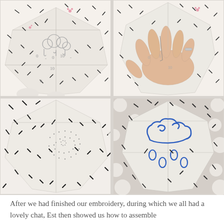[Figure (photo): Four-panel photo grid showing steps of an embroidery project on a folded paper umbrella/fan shape with black dash pattern fabric. Top-left: overhead view of assembled folded shape with cloud design traced in pencil. Top-right: close-up of hands threading a needle through the paper/fabric. Bottom-left: dotted embroidery transfer pattern visible on the folded shape. Bottom-right: completed blue embroidered cloud with raindrops on the assembled shape, on a polka-dot background.]
After we had finished our embroidery, during which we all had a lovely chat, Est then showed us how to assemble